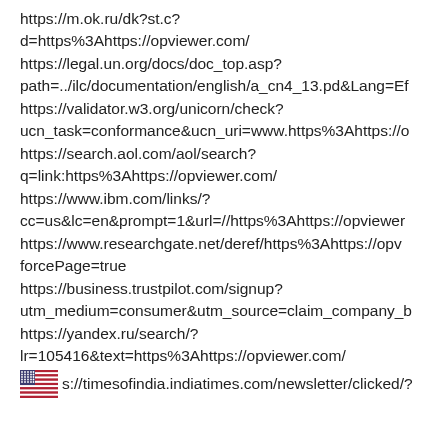https://m.ok.ru/dk?st.c?d=https%3Ahttps://opviewer.com/
https://legal.un.org/docs/doc_top.asp?path=../ilc/documentation/english/a_cn4_13.pd&Lang=Ef
https://validator.w3.org/unicorn/check?ucn_task=conformance&ucn_uri=www.https%3Ahttps://o
https://search.aol.com/aol/search?q=link:https%3Ahttps://opviewer.com/
https://www.ibm.com/links/?cc=us&lc=en&prompt=1&url=//https%3Ahttps://opviewer
https://www.researchgate.net/deref/https%3Ahttps://opv forcePage=true
https://business.trustpilot.com/signup?utm_medium=consumer&utm_source=claim_company_b
https://yandex.ru/search/?lr=105416&text=https%3Ahttps://opviewer.com/
s://timesofindia.indiatimes.com/newsletter/clicked/?